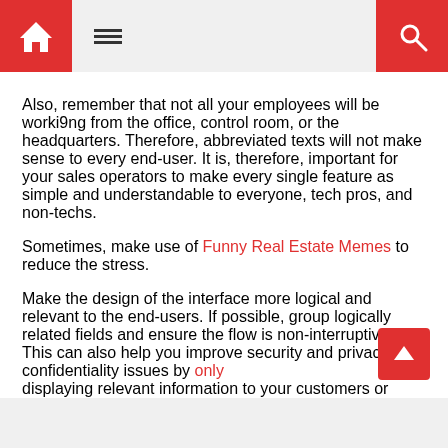Home | Menu | Search
Also, remember that not all your employees will be worki9ng from the office, control room, or the headquarters. Therefore, abbreviated texts will not make sense to every end-user. It is, therefore, important for your sales operators to make every single feature as simple and understandable to everyone, tech pros, and non-techs.
Sometimes, make use of Funny Real Estate Memes to reduce the stress.
Make the design of the interface more logical and relevant to the end-users. If possible, group logically related fields and ensure the flow is non-interruptive. This can also help you improve security and privacy or confidentiality issues by only displaying relevant information to your customers or